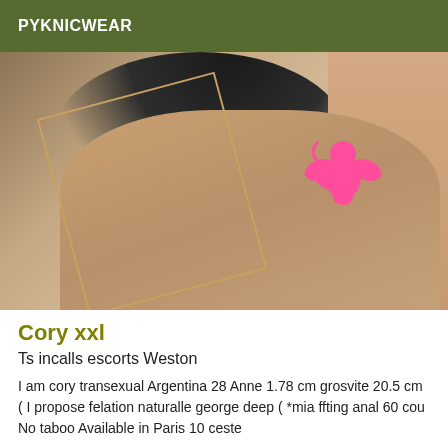PYKNICWEAR
[Figure (photo): A photo of a person with dark hair, partially showing torso, with a pink cupid/angel tattoo or sticker visible on the shoulder/arm area.]
Cory xxl
Ts incalls escorts Weston
I am cory transexual Argentina 28 Anne 1.78 cm grosvite 20.5 cm ( I propose felation naturalle george deep ( *mia ffting anal 60 cou No taboo Available in Paris 10 ceste